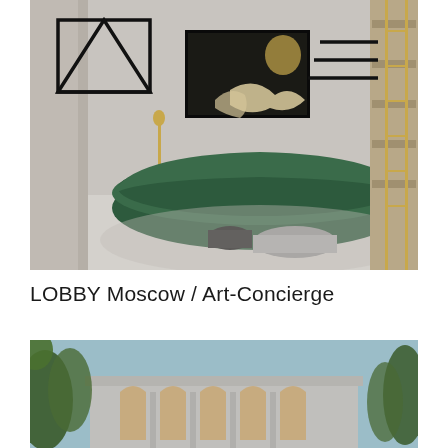[Figure (photo): Interior room with a large curved dark green velvet sofa, two coffee tables (one black cylindrical, one grey oval stone), a figurative painting on the white wall, a brass floor lamp, grey curtains on the left, and a wooden bookshelf with a ladder on the right. A triangle/logo symbol and three horizontal lines are overlaid on the upper-left and upper-right of the image.]
LOBBY Moscow / Art-Concierge
[Figure (photo): Exterior architectural photo showing a modernist building with arched window openings and columns, partially obscured by trees in the foreground against a light blue sky.]